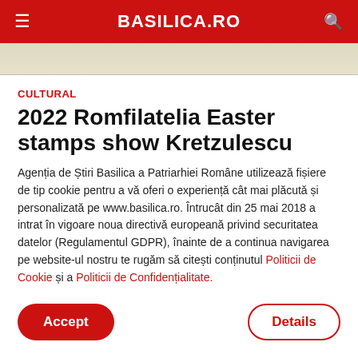BASILICA.RO
[Figure (photo): Partial image visible at top of article, beige/tan background with decorative elements]
CULTURAL
2022 Romfilatelia Easter stamps show Kretzulescu
Agenția de Știri Basilica a Patriarhiei Române utilizează fișiere de tip cookie pentru a vă oferi o experiență cât mai plăcută și personalizată pe www.basilica.ro. Întrucât din 25 mai 2018 a intrat în vigoare noua directivă europeană privind securitatea datelor (Regulamentul GDPR), înainte de a continua navigarea pe website-ul nostru te rugăm să citești conținutul Politicii de Cookie și a Politicii de Confidențialitate.
Accept
Details